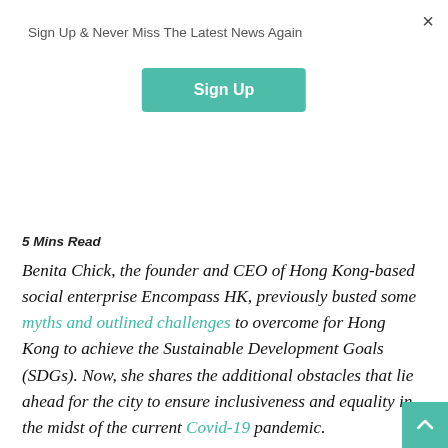Sign Up & Never Miss The Latest News Again
[Figure (other): Green 'Sign Up' button]
×
5 Mins Read
Benita Chick, the founder and CEO of Hong Kong-based social enterprise Encompass HK, previously busted some myths and outlined challenges to overcome for Hong Kong to achieve the Sustainable Development Goals (SDGs). Now, she shares the additional obstacles that lie ahead for the city to ensure inclusiveness and equality in the midst of the current Covid-19 pandemic.